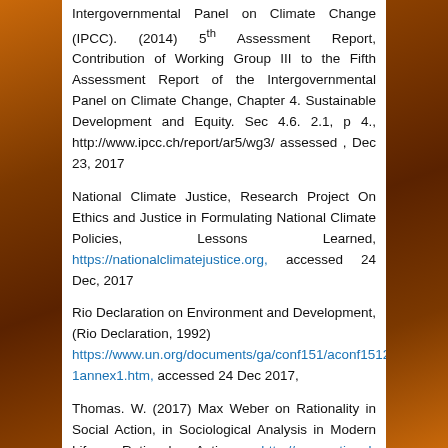Intergovernmental Panel on Climate Change (IPCC). (2014) 5th Assessment Report, Contribution of Working Group III to the Fifth Assessment Report of the Intergovernmental Panel on Climate Change, Chapter 4. Sustainable Development and Equity. Sec 4.6. 2.1, p 4., http://www.ipcc.ch/report/ar5/wg3/ assessed , Dec 23, 2017
National Climate Justice, Research Project On Ethics and Justice in Formulating National Climate Policies, Lessons Learned, https://nationalclimatejustice.org, accessed 24 Dec, 2017
Rio Declaration on Environment and Development, (Rio Declaration, 1992) https://www.un.org/documents/ga/conf151/aconf15126-1annex1.htm, accessed 24 Dec 2017,
Thomas. W. (2017) Max Weber on Rationality in Social Action, in Sociological Analysis in Modern Life, Rational Action, http://www.rational-action.com/?s=Weber, accessed 22 Dec. 2017